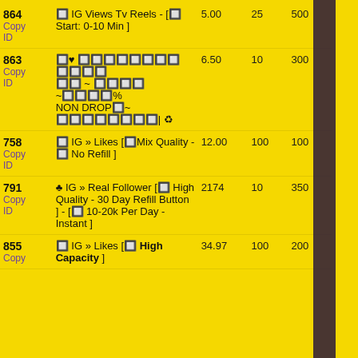| ID | Service | Price | Min | Max |
| --- | --- | --- | --- | --- |
| 864
Copy
ID | 🔲 IG Views Tv Reels - [🔲 Start: 0-10 Min ] | 5.00 | 25 | 500 |
| 863
Copy
ID | 🔲♥ 🔲🔲🔲🔲🔲🔲🔲🔲 🔲🔲🔲🔲
🔲🔲 ~ 🔲🔲🔲🔲 ~🔲🔲🔲🔲%
NON DROP🔲~
🔲🔲🔲🔲🔲🔲🔲🔲| ♻ | 6.50 | 10 | 300 |
| 758
Copy
ID | 🔲 IG » Likes [🔲Mix Quality - 🔲 No Refill ] | 12.00 | 100 | 100 |
| 791
Copy
ID | ♣ IG » Real Follower [🔲 High Quality - 30 Day Refill Button ] - [🔲 10-20k Per Day - Instant ] | 2174 | 10 | 350 |
| 855
Copy | 🔲 IG » Likes [🔲 High Capacity ] | 34.97 | 100 | 200 |